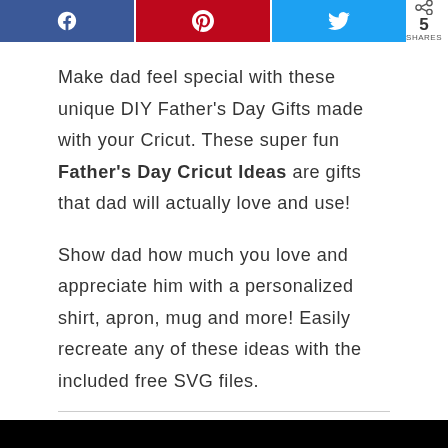[Figure (other): Social share buttons: Facebook (blue), Pinterest (red), Twitter (blue), and a share count showing 5 SHARES]
Make dad feel special with these unique DIY Father's Day Gifts made with your Cricut. These super fun Father's Day Cricut Ideas are gifts that dad will actually love and use!
Show dad how much you love and appreciate him with a personalized shirt, apron, mug and more! Easily recreate any of these ideas with the included free SVG files.
[Figure (other): Embedded video player, partially visible at bottom of page, with black header bar and gray content area]